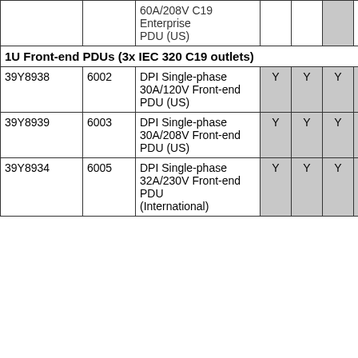|  |  | 60A/208V C19 Enterprise PDU (US) |  |  |  |  |  |
| --- | --- | --- | --- | --- | --- | --- | --- |
| 1U Front-end PDUs (3x IEC 320 C19 outlets) |  |  |  |  |  |  |  |
| 39Y8938 | 6002 | DPI Single-phase 30A/120V Front-end PDU (US) | Y | Y | Y | Y | Y |  |
| 39Y8939 | 6003 | DPI Single-phase 30A/208V Front-end PDU (US) | Y | Y | Y | Y | Y |  |
| 39Y8934 | 6005 | DPI Single-phase 32A/230V Front-end PDU (International) | Y | Y | Y | Y | Y |  |